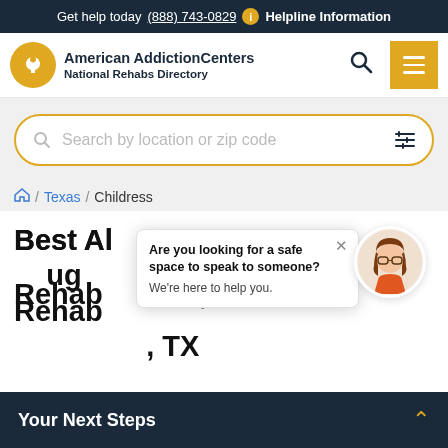Get help today (888) 743-0829  Helpline Information
[Figure (logo): American Addiction Centers National Rehabs Directory logo with golden circular icon and navigation bar with search and menu buttons]
Search by location or zip code
/ Texas / Childress
Best Alcohol and Drug Rehab Centers in Childress, TX
Are you looking for a safe space to speak to someone? We're here to help you.
If you're looking to help yourself or someone you love struggling with substance abuse issues in Childress, TX,
Your Next Steps